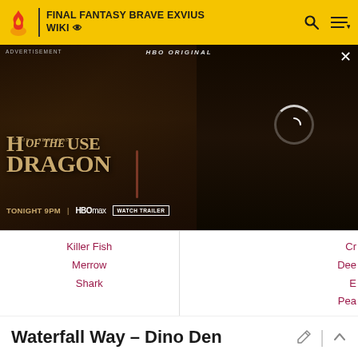FINAL FANTASY BRAVE EXVIUS WIKI
[Figure (screenshot): HBO Original advertisement for House of the Dragon - Game of Thrones spinoff. Shows 'TONIGHT 9PM | HBOmax | WATCH TRAILER'. Dark fantasy background with a character in red dress.]
| Column 1 | Column 2 |
| --- | --- |
| Killer Fish | Cr... |
| Merrow | Dee... |
| Shark | E... |
|  | Pea... |
|  | Qu... |
|  | S... |
|  | Talm... |
|  | To... |
Waterfall Way - Dino Den